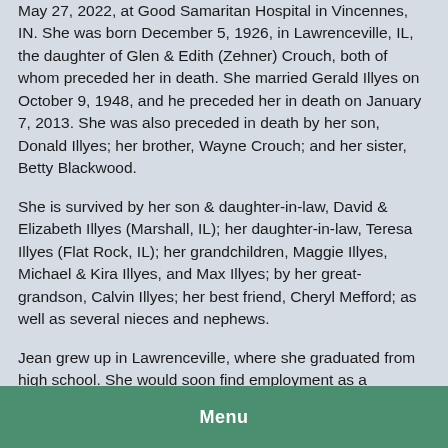May 27, 2022, at Good Samaritan Hospital in Vincennes, IN. She was born December 5, 1926, in Lawrenceville, IL, the daughter of Glen & Edith (Zehner) Crouch, both of whom preceded her in death. She married Gerald Illyes on October 9, 1948, and he preceded her in death on January 7, 2013. She was also preceded in death by her son, Donald Illyes; her brother, Wayne Crouch; and her sister, Betty Blackwood.
She is survived by her son & daughter-in-law, David & Elizabeth Illyes (Marshall, IL); her daughter-in-law, Teresa Illyes (Flat Rock, IL); her grandchildren, Maggie Illyes, Michael & Kira Illyes, and Max Illyes; by her great-grandson, Calvin Illyes; her best friend, Cheryl Mefford; as well as several nieces and nephews.
Jean grew up in Lawrenceville, where she graduated from high school. She would soon find employment as a
Menu